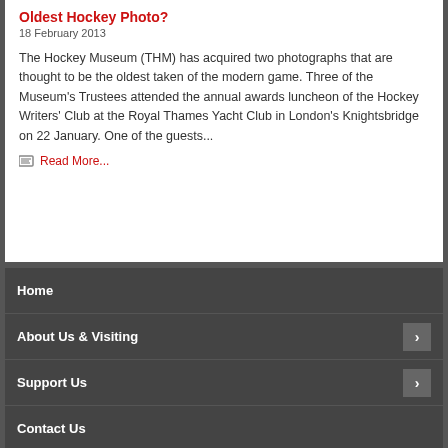Read More...
Oldest Hockey Photo?
18 February 2013
The Hockey Museum (THM) has acquired two photographs that are thought to be the oldest taken of the modern game. Three of the Museum's Trustees attended the annual awards luncheon of the Hockey Writers' Club at the Royal Thames Yacht Club in London's Knightsbridge on 22 January. One of the guests...
Read More...
Home
About Us & Visiting
Support Us
Contact Us
Subscribe To THM Mailing List